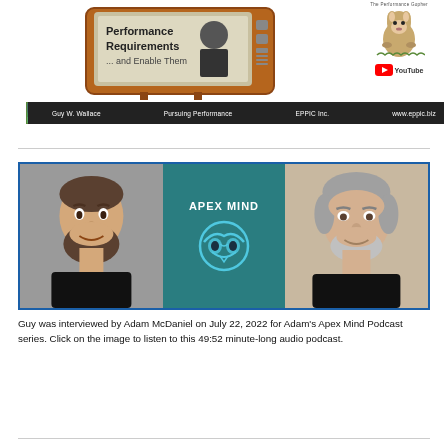[Figure (illustration): Cartoon retro TV set showing 'Performance Requirements ... and Enable Them' with a person's photo. Beside it is 'The Performance Gopher' mascot and a YouTube logo. Below is a black bar with green mountain icon and text: Guy W. Wallace | Pursuing Performance | EPPIC Inc. | www.eppic.biz]
[Figure (photo): Apex Mind Podcast image: left side shows a man with beard in black shirt, center shows teal background with 'APEX MIND' text and a stylized owl/mask logo, right side shows an older man with grey beard in black shirt.]
Guy was interviewed by Adam McDaniel on July 22, 2022 for Adam's Apex Mind Podcast series. Click on the image to listen to this 49:52 minute-long audio podcast.